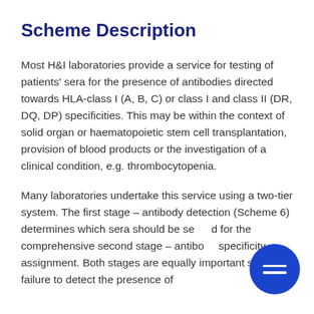Scheme Description
Most H&I laboratories provide a service for testing of patients' sera for the presence of antibodies directed towards HLA-class I (A, B, C) or class I and class II (DR, DQ, DP) specificities. This may be within the context of solid organ or haematopoietic stem cell transplantation, provision of blood products or the investigation of a clinical condition, e.g. thrombocytopenia.
Many laboratories undertake this service using a two-tier system. The first stage – antibody detection (Scheme 6) determines which sera should be selected for the comprehensive second stage – antibody specificity assignment. Both stages are equally important since failure to detect the presence of